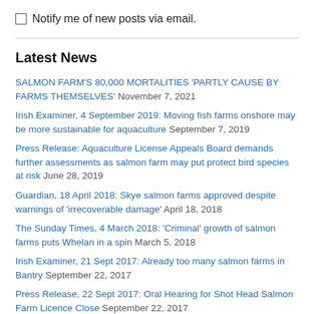Notify me of new posts via email.
Latest News
SALMON FARM'S 80,000 MORTALITIES 'PARTLY CAUSE BY FARMS THEMSELVES' November 7, 2021
Irish Examiner, 4 September 2019: Moving fish farms onshore may be more sustainable for aquaculture September 7, 2019
Press Release: Aquaculture License Appeals Board demands further assessments as salmon farm may put protect bird species at risk June 28, 2019
Guardian, 18 April 2018: Skye salmon farms approved despite warnings of 'irrecoverable damage' April 18, 2018
The Sunday Times, 4 March 2018: 'Criminal' growth of salmon farms puts Whelan in a spin March 5, 2018
Irish Examiner, 21 Sept 2017: Already too many salmon farms in Bantry September 22, 2017
Press Release, 22 Sept 2017: Oral Hearing for Shot Head Salmon Farm Licence Close September 22, 2017